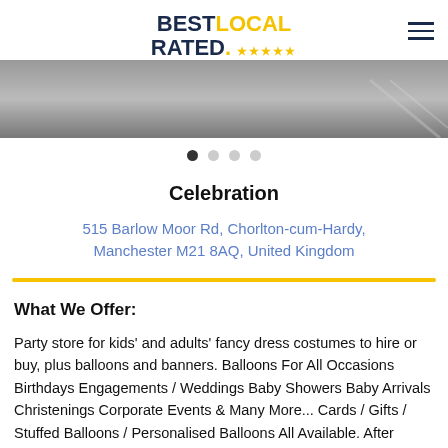BEST LOCAL RATED. ★★★★★
[Figure (photo): Grey/asphalt surface photo strip used as a banner image]
[Figure (other): Carousel dot indicator: 4 dots, first one active (filled), rest grey]
Celebration
515 Barlow Moor Rd, Chorlton-cum-Hardy, Manchester M21 8AQ, United Kingdom
What We Offer:
Party store for kids' and adults' fancy dress costumes to hire or buy, plus balloons and banners. Balloons For All Occasions Birthdays Engagements / Weddings Baby Showers Baby Arrivals Christenings Corporate Events & Many More... Cards / Gifts / Stuffed Balloons / Personalised Balloons All Available. After spending years decorating venues and helping friends, family and work colleagues with